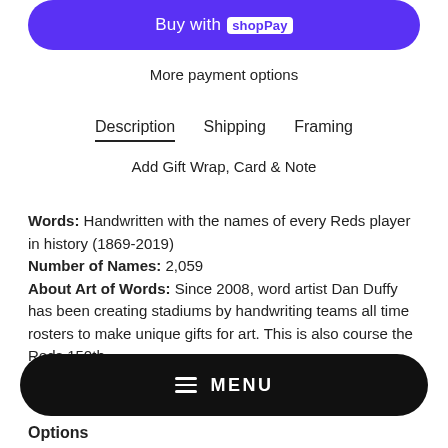[Figure (screenshot): Buy with Shop Pay button — purple rounded rectangle with white text and Shop Pay badge]
More payment options
Description   Shipping   Framing
Add Gift Wrap, Card & Note
Words: Handwritten with the names of every Reds player in history (1869-2019)
Number of Names: 2,059
About Art of Words: Since 2008, word artist Dan Duffy has been creating stadiums by handwriting teams all time rosters to make unique gifts for art. This is also course the Reds 150th
[Figure (screenshot): Black rounded pill-shaped menu bar with hamburger icon and MENU text]
Options